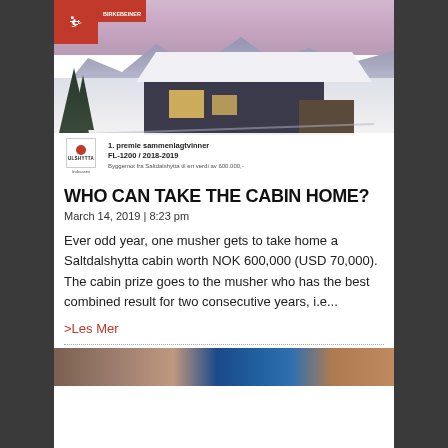[Figure (photo): Winter cabin (Saltdalshytta/Ulshytta) in snowy mountain landscape at dusk with glowing interior lights. Red logo box in top-left corner with skier icon. Bottom overlay shows: '1. premie sammenlagtvinner FL-1200 / 2018-2019' with Ulshytta logo and additional text.]
WHO CAN TAKE THE CABIN HOME?
March 14, 2019 | 8:23 pm
Ever odd year, one musher gets to take home a Saltdalshytta cabin worth NOK 600,000 (USD 70,000).  The cabin prize goes to the musher who has the best combined result for two consecutive years, i.e...
>Les Mer
[Figure (photo): Partial view of a bottom photo strip showing people and a KPMG sign/logo in background.]